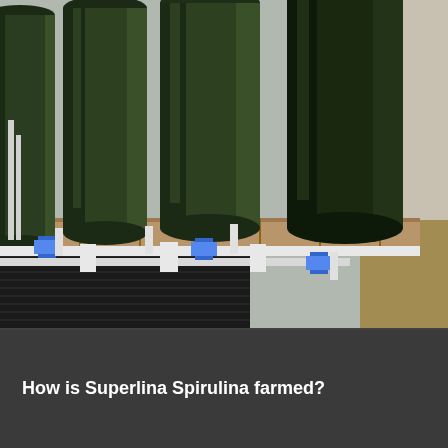[Figure (photo): Photograph of vertical cylindrical bioreactor tubes filled with dark green spirulina algae culture, arranged in a row on wooden pallets with white PVC piping and blue valve connectors at the base, inside an indoor facility with black rubber matting on the floor.]
How is Superlina Spirulina farmed?